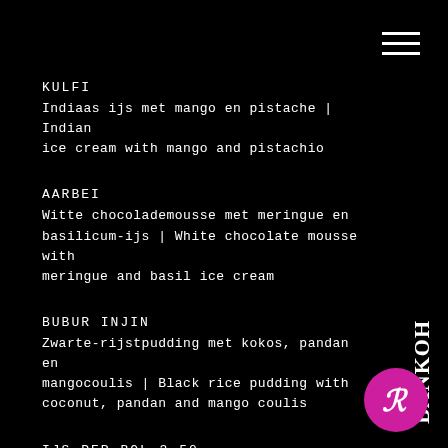KULFI
Indiaas ijs met mango en pistache | Indian ice cream with mango and pistachio
AARBEI
Witte chocolademousse met meringue en basilicum-ijs | White chocolate mousse with meringue and basil ice cream
BUBUR INJIN
Zwarte-rijstpudding met kokos, pandan en mangocoulis | Black rice pudding with coconut, pandan and mango coulis
IJS PER BOL 3,50
afkoelen na zo'n pittige maaltijd? Ice cream per scoop. To cool down after a fiery meal.
[Figure (logo): BANKOH vertical text logo on the right side]
[Figure (logo): Pink circular logo with stylized R letter]